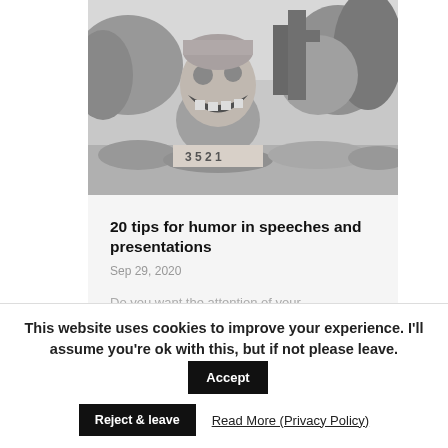[Figure (photo): Black and white photo of a clown/fish-like sculpture with open mouth, surrounded by cacti and shrubs in an outdoor garden setting. Numbers 3 5 2 1 visible on a base.]
20 tips for humor in speeches and presentations
Sep 29, 2020
Do you want the attention of your
This website uses cookies to improve your experience. I'll assume you're ok with this, but if not please leave.
Accept
Reject & leave
Read More (Privacy Policy)